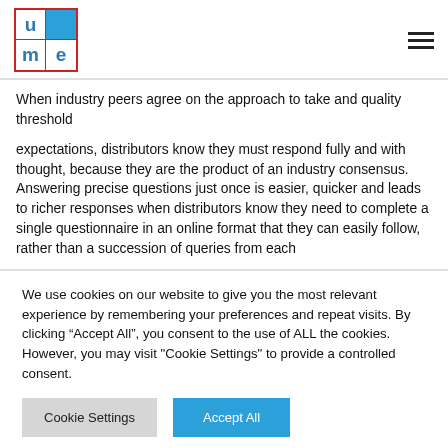[Figure (logo): Ume logo: 2x2 grid with red border, letters u, blue square, m, e. Top-right cell is solid blue background.]
When industry peers agree on the approach to take and quality threshold
expectations, distributors know they must respond fully and with thought, because they are the product of an industry consensus. Answering precise questions just once is easier, quicker and leads to richer responses when distributors know they need to complete a single questionnaire in an online format that they can easily follow, rather than a succession of queries from each
We use cookies on our website to give you the most relevant experience by remembering your preferences and repeat visits. By clicking “Accept All”, you consent to the use of ALL the cookies. However, you may visit "Cookie Settings" to provide a controlled consent.